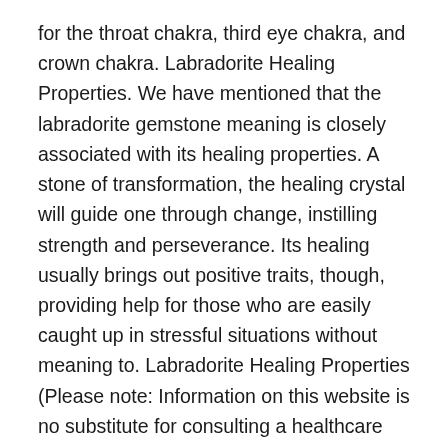for the throat chakra, third eye chakra, and crown chakra. Labradorite Healing Properties. We have mentioned that the labradorite gemstone meaning is closely associated with its healing properties. A stone of transformation, the healing crystal will guide one through change, instilling strength and perseverance. Its healing usually brings out positive traits, though, providing help for those who are easily caught up in stressful situations without meaning to. Labradorite Healing Properties (Please note: Information on this website is no substitute for consulting a healthcare professional.
Labradorite can help reveal the nature of 'mystery illnesses.' It can show the patterns that have created disease and can amplify healing thoughts and prayers.
Labradorite is beneficial of general health of the eyes